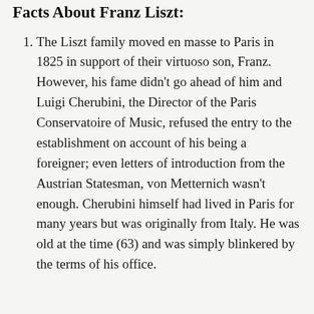Facts About Franz Liszt:
The Liszt family moved en masse to Paris in 1825 in support of their virtuoso son, Franz. However, his fame didn't go ahead of him and Luigi Cherubini, the Director of the Paris Conservatoire of Music, refused the entry to the establishment on account of his being a foreigner; even letters of introduction from the Austrian Statesman, von Metternich wasn't enough. Cherubini himself had lived in Paris for many years but was originally from Italy. He was old at the time (63) and was simply blinkered by the terms of his office.